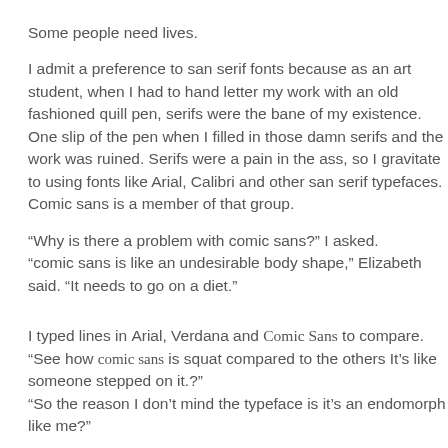Some people need lives.
I admit a preference to san serif fonts because as an art student, when I had to hand letter my work with an old fashioned quill pen, serifs were the bane of my existence. One slip of the pen when I filled in those damn serifs and the work was ruined. Serifs were a pain in the ass, so I gravitate to using fonts like Arial, Calibri and other san serif typefaces. Comic sans is a member of that group.
“Why is there a problem with comic sans?” I asked. “comic sans is like an undesirable body shape,” Elizabeth said. “It needs to go on a diet.”
I typed lines in Arial, Verdana and Comic Sans to compare.
“See how comic sans is squat compared to the others It’s like someone stepped on it.?”
“So the reason I don’t mind the typeface is it’s an endomorph like me?”